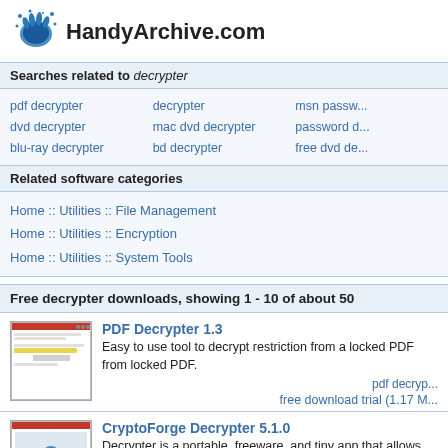[Figure (logo): HandyArchive.com logo with ink splat hand icon and bold site name]
Searches related to decrypter
pdf decrypter
dvd decrypter
blu-ray decrypter
decrypter
mac dvd decrypter
bd decrypter
msn passw...
password d...
free dvd de...
Related software categories
Home :: Utilities :: File Management
Home :: Utilities :: Encryption
Home :: Utilities :: System Tools
Free decrypter downloads, showing 1 - 10 of about 50
[Figure (screenshot): PDF Decrypter 1.3 software screenshot thumbnail]
PDF Decrypter 1.3
Easy to use tool to decrypt restriction from a locked PDF from locked PDF.
pdf decryp...
free download trial (1.17 M...
[Figure (screenshot): CryptoForge Decrypter 5.1.0 software screenshot thumbnail]
CryptoForge Decrypter 5.1.0
Decrypter is a portable, freeware, and tiny app that allows encrypted by CryptoForge encryption software. It is reali...